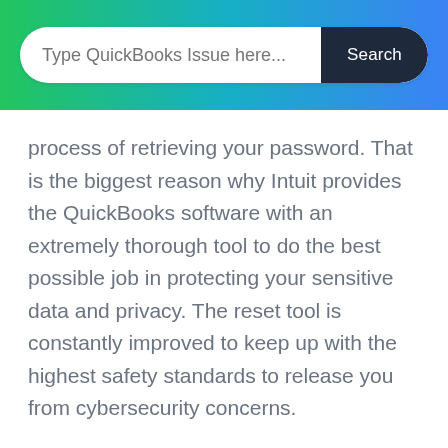[Figure (other): Website header with gradient background (green to blue) containing a search bar with placeholder text 'Type QuickBooks Issue here...' and a dark 'Search' button]
process of retrieving your password. That is the biggest reason why Intuit provides the QuickBooks software with an extremely thorough tool to do the best possible job in protecting your sensitive data and privacy. The reset tool is constantly improved to keep up with the highest safety standards to release you from cybersecurity concerns.
Step by Step Guide on how to use the QuickBooks Password Reset Tool